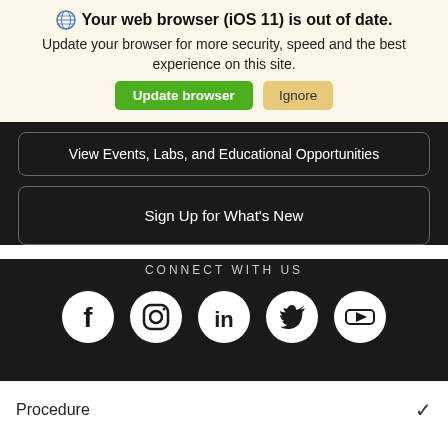Your web browser (iOS 11) is out of date.
Update your browser for more security, speed and the best experience on this site.
Update browser | Ignore
View Events, Labs, and Educational Opportunities
Sign Up for What's New
CONNECT WITH US
[Figure (infographic): Social media icons: Facebook, Instagram, LinkedIn, Twitter, YouTube]
Procedure